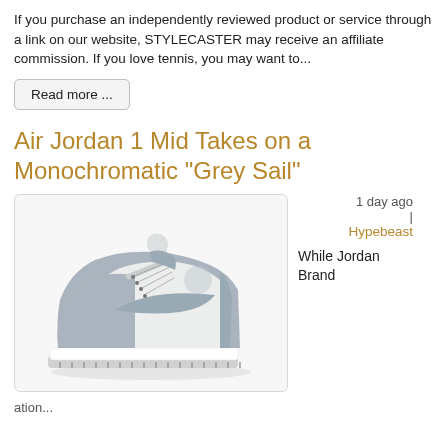If you purchase an independently reviewed product or service through a link on our website, STYLECASTER may receive an affiliate commission. If you love tennis, you may want to...
Read more ...
Air Jordan 1 Mid Takes on a Monochromatic "Grey Sail"
[Figure (photo): Air Jordan 1 Mid sneaker in grey and sail/off-white colorway, shown from the side on a light background]
1 day ago | Hypebeast
While Jordan Brand
ation...